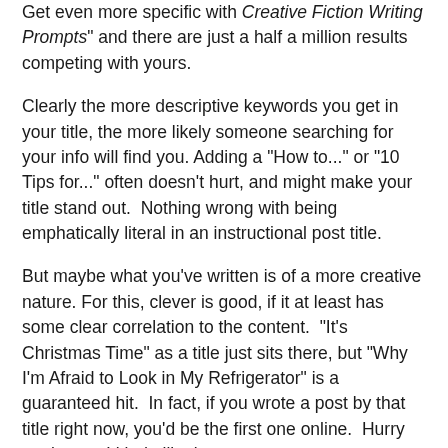Get even more specific with Creative Fiction Writing Prompts" and there are just a half a million results competing with yours.
Clearly the more descriptive keywords you get in your title, the more likely someone searching for your info will find you. Adding a "How to..." or "10 Tips for..." often doesn't hurt, and might make your title stand out. Nothing wrong with being emphatically literal in an instructional post title.
But maybe what you've written is of a more creative nature. For this, clever is good, if it at least has some clear correlation to the content. "It's Christmas Time" as a title just sits there, but "Why I'm Afraid to Look in My Refrigerator" is a guaranteed hit. In fact, if you wrote a post by that title right now, you'd be the first one online. Hurry up, 'cause I kinda like it.
Of course, people aren't specifically googling "afraid to look in my refrigerator", but if you promote an irresistibly intriguing blogpost title on Facebook, Twitter, or Pinterest, people will find you and recommend it to their friends.